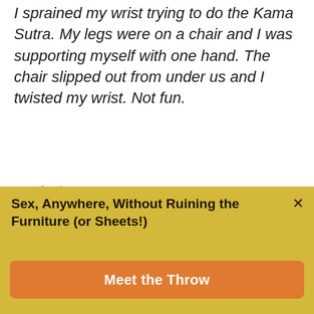I sprained my wrist trying to do the Kama Sutra. My legs were on a chair and I was supporting myself with one hand. The chair slipped out from under us and I twisted my wrist. Not fun.
-Stefani Love
The New Safe Sex
Nothing worth doing is 100% safe. That said, there are a few things you can do to protect yourself from
Sex, Anywhere, Without Ruining the Furniture (or Sheets!)
Meet the Throw